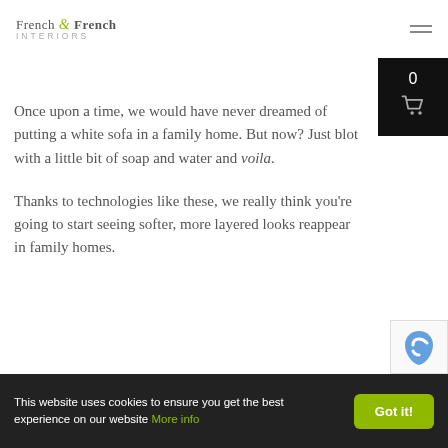French & French Interiors
Once upon a time, we would have never dreamed of putting a white sofa in a family home. But now? Just blot with a little bit of soap and water and voila.
Thanks to technologies like these, we really think you’re going to start seeing softer, more layered looks reappear in family homes.
This website uses cookies to ensure you get the best experience on our website More info  Got it!